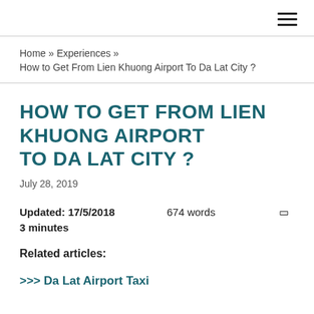≡
Home » Experiences »
How to Get From Lien Khuong Airport To Da Lat City ?
HOW TO GET FROM LIEN KHUONG AIRPORT TO DA LAT CITY ?
July 28, 2019
Updated: 17/5/2018    674 words    🔲
3 minutes
Related articles:
>>> Da Lat Airport Taxi